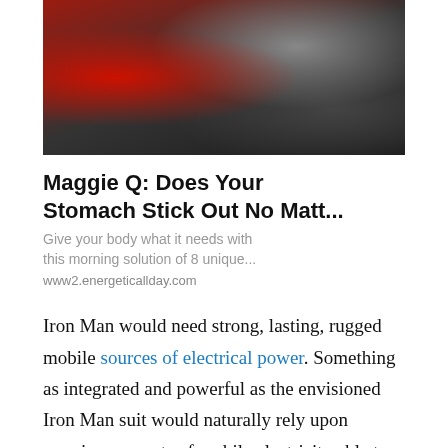[Figure (photo): An advertisement image showing a figure in a red costume (resembling Spider-Man) near dark metallic machinery or motorcycles.]
Maggie Q: Does Your Stomach Stick Out No Matt...
Give your body what it needs with this morning solution of 8 unique...
www2.energeticallday.com
Iron Man would need strong, lasting, rugged mobile sources of electrical power. Something as integrated and powerful as the envisioned Iron Man suit would naturally rely upon massive amounts of mobile electricity able to provide sustained sources of power to propulsion systems, computers, weapons and other